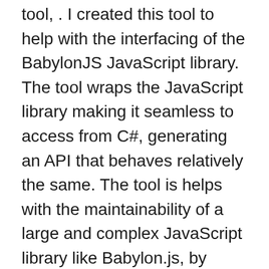tool, . I created this tool to help with the interfacing of the BabylonJS JavaScript library. The tool wraps the JavaScript library making it seamless to access from C#, generating an API that behaves relatively the same. The tool is helps with the maintainability of a large and complex JavaScript library like Babylon.js, by removing all the common interop logic and leave just the API in more or less the same structure.
The tool has the added benefit of being used from the command line to generate a .NET C# library. This library is packaged up in a project, making it portable and specific to the JavaScript